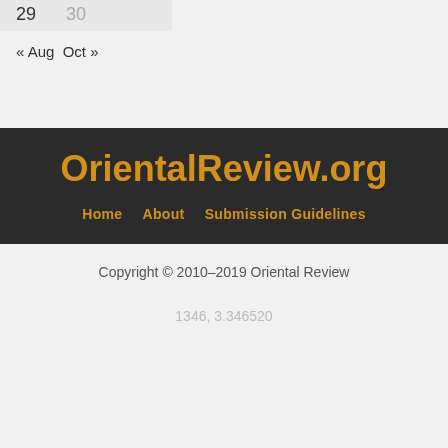| 29 | 30 |
« Aug  Oct »
OrientalReview.org
Home    About    Submission Guidelines
Copyright © 2010–2019 Oriental Review
1346, 3.346520